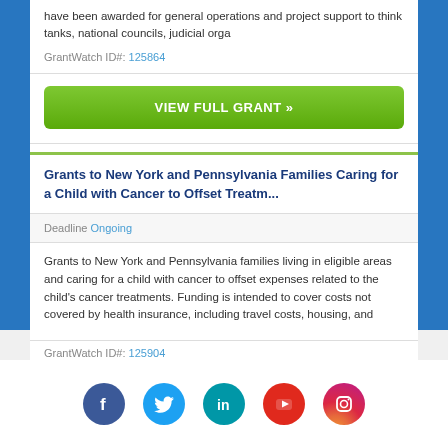have been awarded for general operations and project support to think tanks, national councils, judicial orga
GrantWatch ID#: 125864
VIEW FULL GRANT »
Grants to New York and Pennsylvania Families Caring for a Child with Cancer to Offset Treatm...
Deadline Ongoing
Grants to New York and Pennsylvania families living in eligible areas and caring for a child with cancer to offset expenses related to the child's cancer treatments. Funding is intended to cover costs not covered by health insurance, including travel costs, housing, and
GrantWatch ID#: 125904
[Figure (infographic): Social media icons row: Facebook (blue), Twitter (light blue), LinkedIn (teal/blue), YouTube (red), Instagram (gradient pink/purple)]